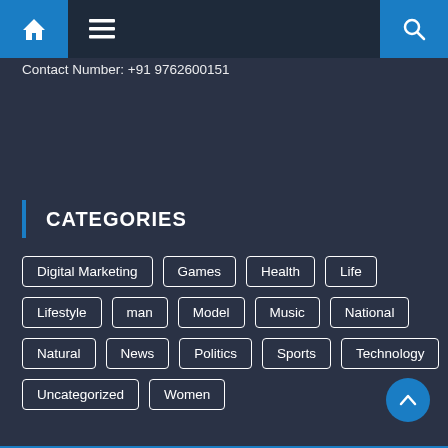Navigation bar with home, menu, and search icons
Contact Number: +91 9762600151
CATEGORIES
Digital Marketing
Games
Health
Life
Lifestyle
man
Model
Music
National
Natural
News
Politics
Sports
Technology
Uncategorized
Women